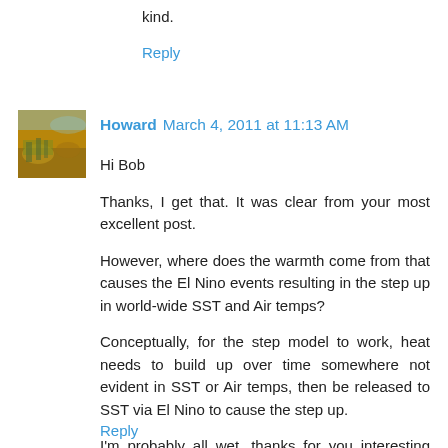kind.
Reply
Howard  March 4, 2011 at 11:13 AM
Hi Bob

Thanks, I get that. It was clear from your most excellent post.

However, where does the warmth come from that causes the El Nino events resulting in the step up in world-wide SST and Air temps?

Conceptually, for the step model to work, heat needs to build up over time somewhere not evident in SST or Air temps, then be released to SST via El Nino to cause the step up.

I'm probably all wet, thanks for you interesting blog.
Reply